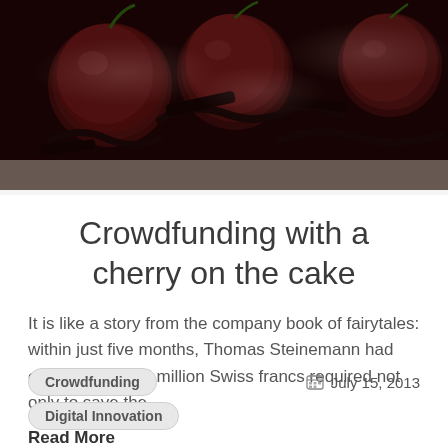[Figure (photo): Close-up photograph of dark red cherries with chocolate curls on a light surface]
Crowdfunding with a cherry on the cake
It is like a story from the company book of fairytales: within just five months, Thomas Steinemann had collected the 1.5 million Swiss francs required not only to save the…
Read More
Crowdfunding
July 15, 2013
Digital Innovation